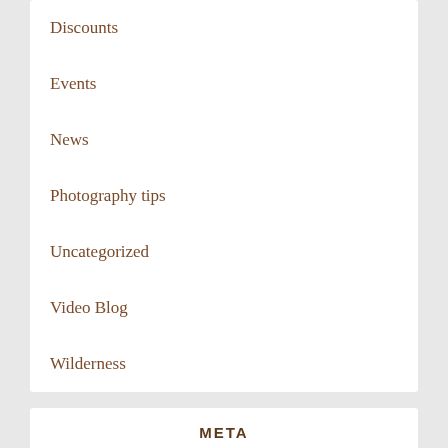Discounts
Events
News
Photography tips
Uncategorized
Video Blog
Wilderness
META